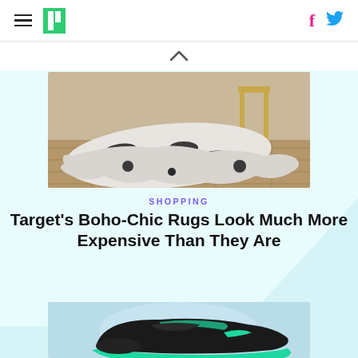HuffPost navigation header with hamburger menu, logo, Facebook and Twitter icons
[Figure (photo): A black and white cowhide rug on a wood floor with a gold metal stool/table visible in background]
SHOPPING
Target's Boho-Chic Rugs Look Much More Expensive Than They Are
[Figure (photo): A black and teal/mint colored athletic sneaker on a light blue background]